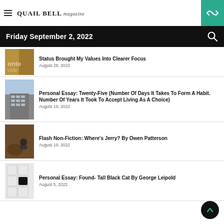Quail Bell Magazine
Friday September 2, 2022
Status Brought My Values Into Clearer Focus
August 28, 2022
Personal Essay: Twenty-Five (Number Of Days It Takes To Form A Habit. Number Of Years It Took To Accept Living As A Choice)
August 19, 2022
Flash Non-Fiction: Where's Jerry? By Owen Patterson
August 19, 2022
Personal Essay: Found- Tall Black Cat By George Leipold
August 5, 2022